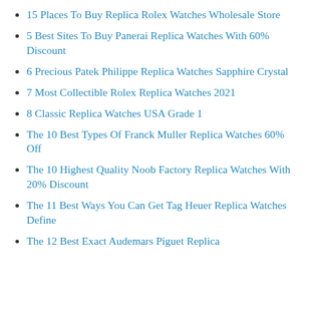15 Places To Buy Replica Rolex Watches Wholesale Store
5 Best Sites To Buy Panerai Replica Watches With 60% Discount
6 Precious Patek Philippe Replica Watches Sapphire Crystal
7 Most Collectible Rolex Replica Watches 2021
8 Classic Replica Watches USA Grade 1
The 10 Best Types Of Franck Muller Replica Watches 60% Off
The 10 Highest Quality Noob Factory Replica Watches With 20% Discount
The 11 Best Ways You Can Get Tag Heuer Replica Watches Define
The 12 Best Exact Audemars Piguet Replica